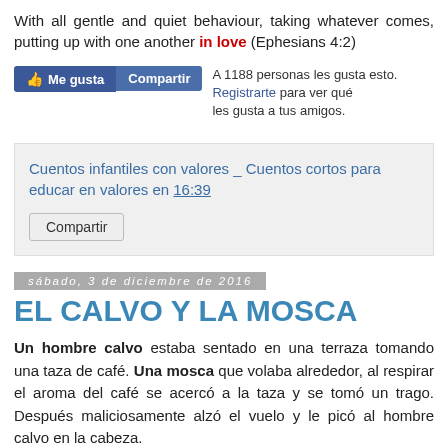With all gentle and quiet behaviour, taking whatever comes, putting up with one another in love (Ephesians 4:2)
[Figure (screenshot): Facebook like and share buttons with text: A 1188 personas les gusta esto. Registrarte para ver qué les gusta a tus amigos.]
[Figure (screenshot): Shared post box: Cuentos infantiles con valores _ Cuentos cortos para educar en valores en 16:39, with Compartir button]
sábado, 3 de diciembre de 2016
EL CALVO Y LA MOSCA
Un hombre calvo estaba sentado en una terraza tomando una taza de café. Una mosca que volaba alrededor, al respirar el aroma del café se acercó a la taza y se tomó un trago. Después maliciosamente alzó el vuelo y le picó al hombre calvo en la cabeza.
[Figure (illustration): Partial illustration showing a bald head/person at the bottom of the page]